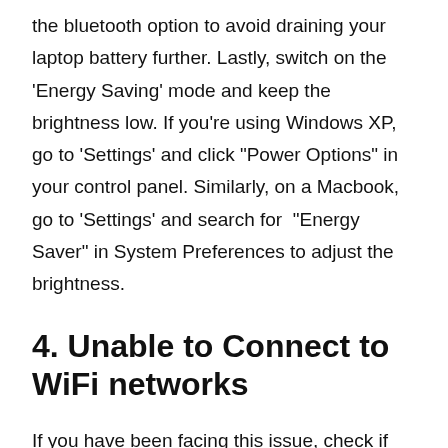the bluetooth option to avoid draining your laptop battery further. Lastly, switch on the 'Energy Saving' mode and keep the brightness low. If you're using Windows XP, go to 'Settings' and click "Power Options" in your control panel. Similarly, on a Macbook, go to 'Settings' and search for "Energy Saver" in System Preferences to adjust the brightness.
4. Unable to Connect to WiFi networks
If you have been facing this issue, check if the airplane mode on your laptop is switched off and WiFi is switched on. Next, re-install the drivers of